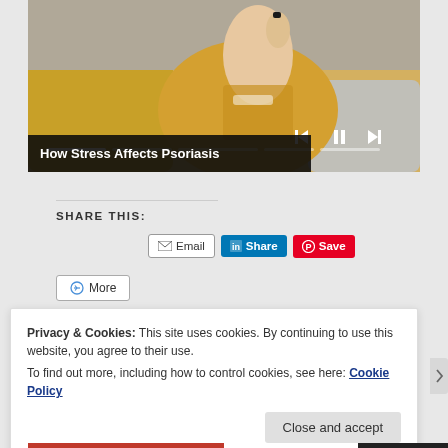[Figure (screenshot): Video player screenshot showing a person in a yellow/mustard sweater with media controls, titled 'How Stress Affects Psoriasis']
How Stress Affects Psoriasis
SHARE THIS:
Email  Share  Save  More
Privacy & Cookies: This site uses cookies. By continuing to use this website, you agree to their use.
To find out more, including how to control cookies, see here: Cookie Policy
Close and accept